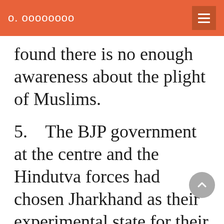о. оооооооо
found there is no enough awareness about the plight of Muslims.
5.    The BJP government at the centre and the Hindutva forces had chosen Jharkhand as their experimental state for their Rama Rajya. They had banned a number of organisattions fighting for the